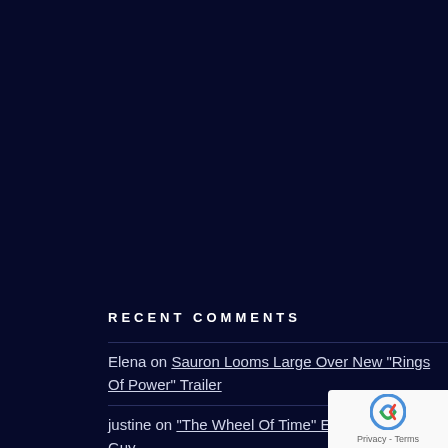RECENT COMMENTS
Elena on Sauron Looms Large Over New “Rings Of Power” Trailer
justine on “The Wheel Of Time” Episode 6 Goes Guy
[Figure (logo): reCAPTCHA badge with logo and Privacy - Terms links]